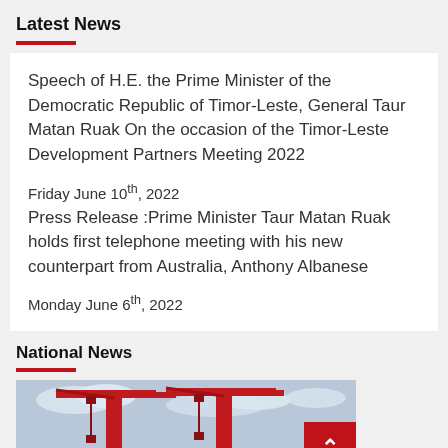Latest News
Speech of H.E. the Prime Minister of the Democratic Republic of Timor-Leste, General Taur Matan Ruak On the occasion of the Timor-Leste Development Partners Meeting 2022
Friday June 10th, 2022
Press Release :Prime Minister Taur Matan Ruak holds first telephone meeting with his new counterpart from Australia, Anthony Albanese
Monday June 6th, 2022
National News
[Figure (photo): Photo of two red port cranes against a cloudy sky]